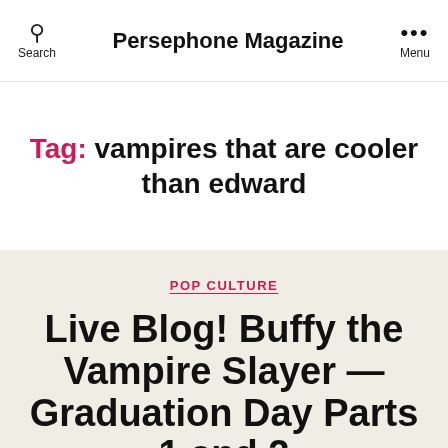Persephone Magazine
Tag: vampires that are cooler than edward
POP CULTURE
Live Blog! Buffy the Vampire Slayer — Graduation Day Parts 1 and 2